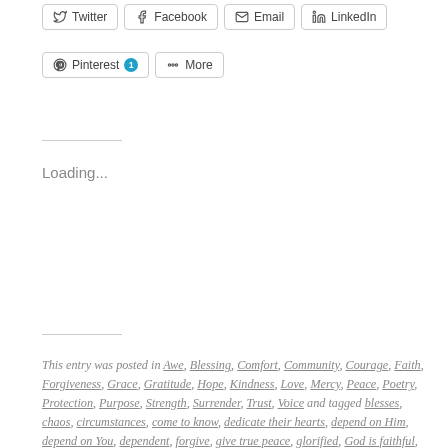[Figure (screenshot): Social share buttons: Twitter, Facebook, Email, LinkedIn, Pinterest (with badge 1), More]
Loading...
This entry was posted in Awe, Blessing, Comfort, Community, Courage, Faith, Forgiveness, Grace, Gratitude, Hope, Kindness, Love, Mercy, Peace, Poetry, Protection, Purpose, Strength, Surrender, Trust, Voice and tagged blesses, chaos, circumstances, come to know, dedicate their hearts, depend on Him, depend on You, dependent, forgive, give true peace, glorified, God is faithful, God is greater, grants us true peace, hope in His Name, Isaiah 26, know His peace, love, peace can remain, perfect peace, promote Your peace, reliant on Him, seek God, seek the Lord, show, situations, steal our peace, strength, teach, trust, trust in God, trust in Him, trusting in You, turmoil, whatever we do, wherever we go. Bookmark the